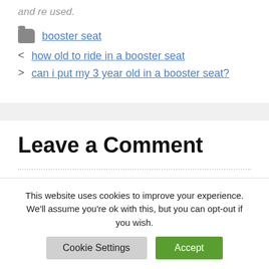and re used.
booster seat
how old to ride in a booster seat
can i put my 3 year old in a booster seat?
Leave a Comment
This website uses cookies to improve your experience. We'll assume you're ok with this, but you can opt-out if you wish.
Cookie Settings  Accept